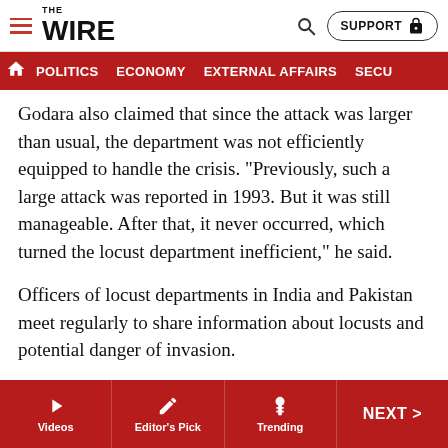THE WIRE — POLITICS | ECONOMY | EXTERNAL AFFAIRS | SECU...
Godara also claimed that since the attack was larger than usual, the department was not efficiently equipped to handle the crisis. “Previously, such a large attack was reported in 1993. But it was still manageable. After that, it never occurred, which turned the locust department inefficient,” he said.
Officers of locust departments in India and Pakistan meet regularly to share information about locusts and potential danger of invasion.
The locust department in India has blamed Pakistan for this year’s attack, saying it failed to conduct control operations successfully. “If Pakistan had taken proper control
Videos | Editor's Pick | Trending | NEXT >